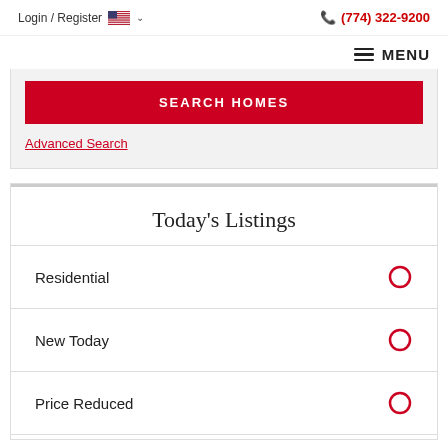Login / Register  🇺🇸 ∨  (774) 322-9200
☰ MENU
SEARCH HOMES
Advanced Search
Today's Listings
Residential
New Today
Price Reduced